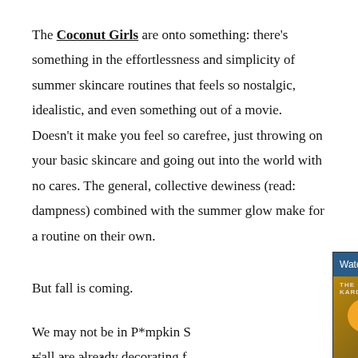The Coconut Girls are onto something: there's something in the effortlessness and simplicity of summer skincare routines that feels so nostalgic, idealistic, and even something out of a movie. Doesn't it make you feel so carefree, just throwing on your basic skincare and going out into the world with no cares. The general, collective dewiness (read: dampness) combined with the summer glow make for a routine on their own.
But fall is coming.
[Figure (screenshot): Video popup overlay showing 'Watch Kourtney Kardashian Tries on He...' with a close button X, teal/blue header bar, and a thumbnail of a woman in a wedding veil with a blue nose strip, set against a floral background. An orange mute button is visible.]
We may not be in P*mpkin S... y'all are already decorating f...
To usher in the new season,